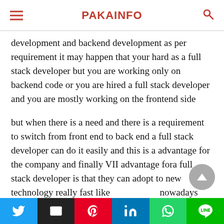PAKAINFO
development and backend development as per requirement it may happen that your hard as a full stack developer but you are working only on backend code or you are hired a full stack developer and you are mostly working on the frontend side
but when there is a need and there is a requirement to switch from front end to back end a full stack developer can do it easily and this is a advantage for the company and finally VII advantage fora full stack developer is that they can adopt to new technology really fast like nowadays there are new technologies which are coming
Twitter | Email | Pinterest | LinkedIn | WhatsApp | LINE